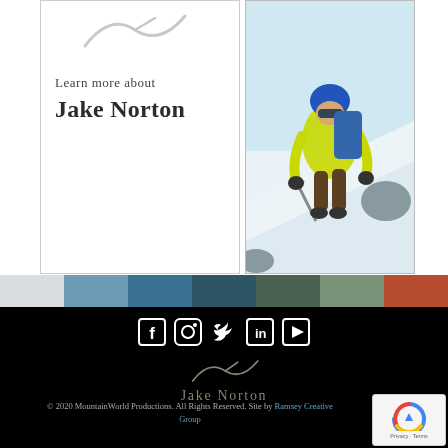[Figure (logo): Jake Norton logo swish/checkmark mark in light gray]
Learn more about
Jake Norton
[Figure (photo): Climber in yellow jacket and blue helmet climbing a snowy mountain slope with ice axe]
[Figure (infographic): Horizontal color bar with 7 color swatches: light gray, steel blue, medium blue, dark teal, dark green, sage green, burnt orange]
[Figure (infographic): Social media icons: Facebook, Instagram, Twitter, LinkedIn, YouTube in white on black background]
[Figure (logo): Jake Norton logo with swish mark and name in sage/olive color on black background]
© 2020 MountainWorld Productions. All Rights Reserved. Site by Ramsey Creative Group
[Figure (other): reCAPTCHA badge with Privacy and Terms]